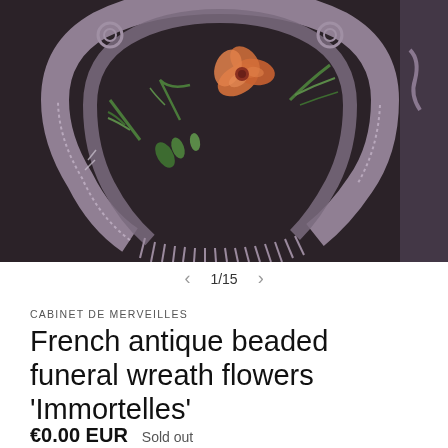[Figure (photo): Close-up photograph of a French antique beaded funeral wreath (Immortelles) featuring intricate purple/mauve beadwork in a horseshoe shape with an orange flower and green foliage decorations, set against a dark background.]
1/15
CABINET DE MERVEILLES
French antique beaded funeral wreath flowers 'Immortelles'
€0.00 EUR  Sold out